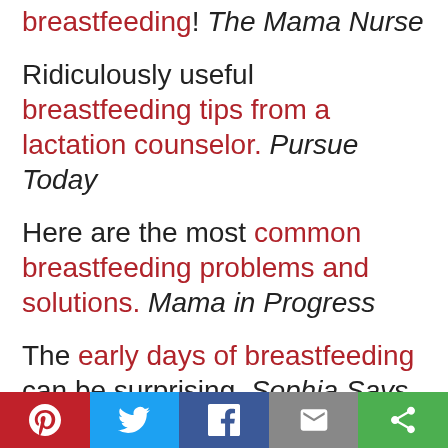breastfeeding! The Mama Nurse
Ridiculously useful breastfeeding tips from a lactation counselor. Pursue Today
Here are the most common breastfeeding problems and solutions. Mama in Progress
The early days of breastfeeding can be surprising. Sophia Says Hello
[Figure (other): Social sharing bar with Pinterest, Twitter, Facebook, Email, and More buttons]